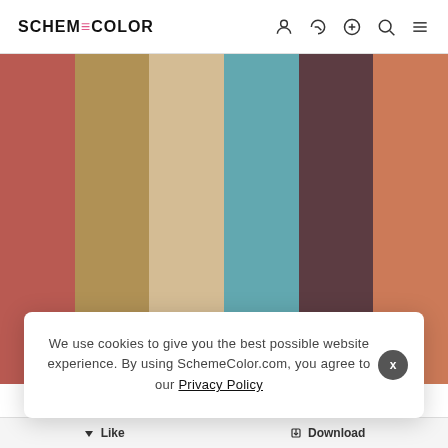SCHEME=COLOR
[Figure (infographic): Color palette with 6 vertical color swatches: dusty red/brick, khaki/tan, light beige/sand, teal/muted cyan, dark brown/mauve, terracotta/copper]
We use cookies to give you the best possible website experience. By using SchemeColor.com, you agree to our Privacy Policy